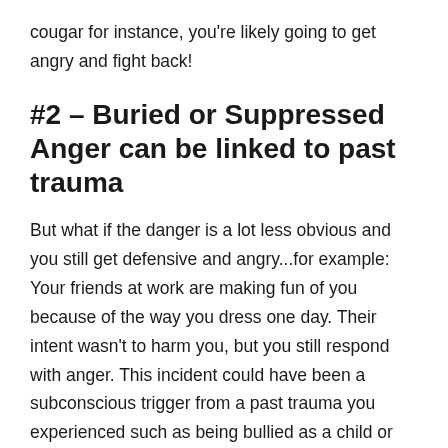cougar for instance, you're likely going to get angry and fight back!
#2 – Buried or Suppressed Anger can be linked to past trauma
But what if the danger is a lot less obvious and you still get defensive and angry...for example: Your friends at work are making fun of you because of the way you dress one day. Their intent wasn't to harm you, but you still respond with anger. This incident could have been a subconscious trigger from a past trauma you experienced such as being bullied as a child or put down repeatedly by a caregiver.
#3 – Anger Can be...